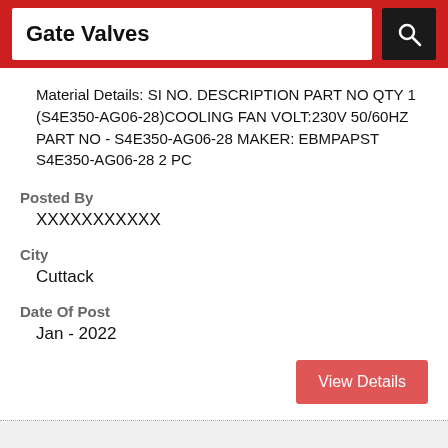Gate Valves
Material Details: SI NO. DESCRIPTION PART NO QTY 1 (S4E350-AG06-28)COOLING FAN VOLT:230V 50/60HZ PART NO - S4E350-AG06-28 MAKER: EBMPAPST S4E350-AG06-28 2 PC
Posted By
XXXXXXXXXXX
City
Cuttack
Date Of Post
Jan - 2022
View Details